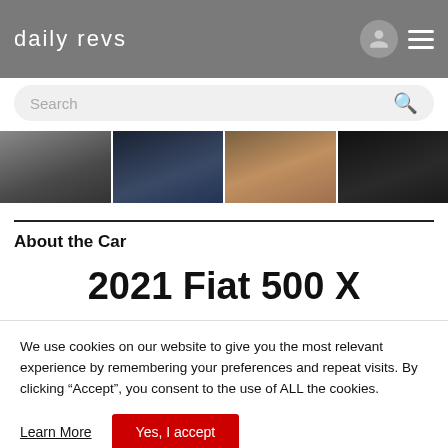daily revs
[Figure (screenshot): Search bar with placeholder text 'Search' and red search icon]
[Figure (photo): Strip of four thumbnail images showing cars and rainy scenes]
About the Car
2021 Fiat 500 X
We use cookies on our website to give you the most relevant experience by remembering your preferences and repeat visits. By clicking “Accept”, you consent to the use of ALL the cookies.
Learn More
Yes, I accept